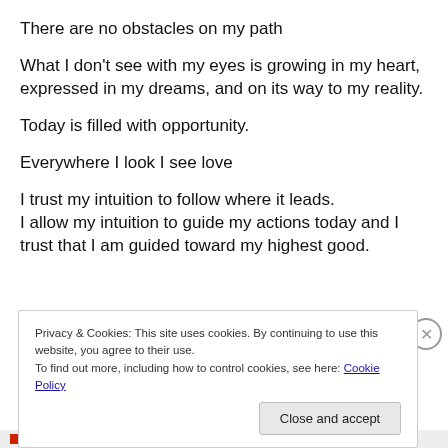There are no obstacles on my path
What I don't see with my eyes is growing in my heart, expressed in my dreams, and on its way to my reality.
Today is filled with opportunity.
Everywhere I look I see love
I trust my intuition to follow where it leads.
I allow my intuition to guide my actions today and I trust that I am guided toward my highest good.
Privacy & Cookies: This site uses cookies. By continuing to use this website, you agree to their use.
To find out more, including how to control cookies, see here: Cookie Policy
Close and accept